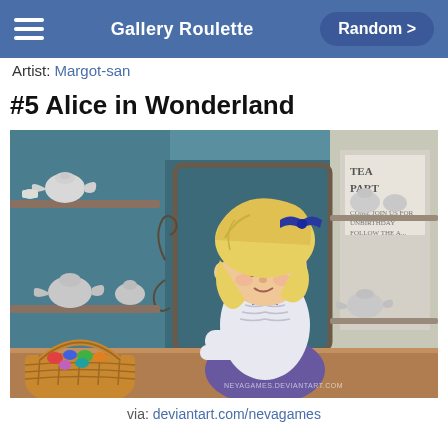Gallery Roulette | Random >
Artist: Margot-san
#5 Alice in Wonderland
[Figure (illustration): Digital illustration of Alice from Alice in Wonderland. A blonde girl with a blue bow in her hair wearing a white blouse and blue/purple dress rests her chin near a table surface. The background shows shelves with teapots and a 'Tea Party' sign on the right. A basket of colorful items is in the lower left. Watermark reads NEYAGAMES.DEVIANTART.COM]
via: deviantart.com/nevagames